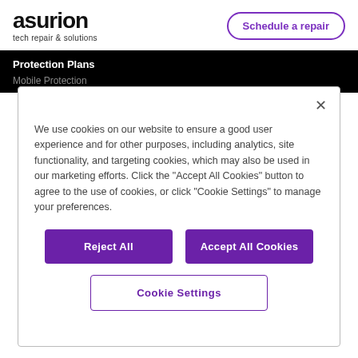asurion tech repair & solutions
Schedule a repair
Protection Plans
Mobile Protection
We use cookies on our website to ensure a good user experience and for other purposes, including analytics, site functionality, and targeting cookies, which may also be used in our marketing efforts. Click the "Accept All Cookies" button to agree to the use of cookies, or click "Cookie Settings" to manage your preferences.
Reject All
Accept All Cookies
Cookie Settings